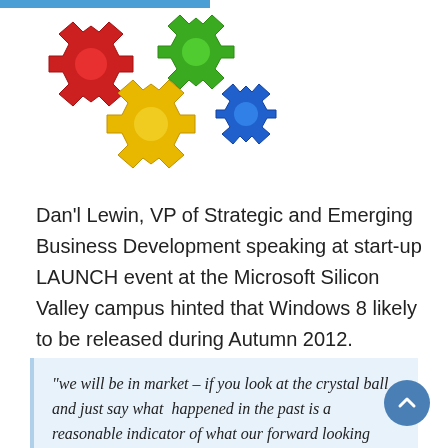[Figure (illustration): Colorful interlocking gear/cog shapes in red, green, yellow, and blue arranged together on a white background.]
Dan'l Lewin, VP of Strategic and Emerging Business Development speaking at start-up LAUNCH event at the Microsoft Silicon Valley campus hinted that Windows 8 likely to be released during Autumn 2012.
“we will be in market – if you look at the crystal ball and just say what happened in the past is a reasonable indicator of what our forward looking timelines will be and just speculate – we’ve made the point about having a developer conference later this year, and then